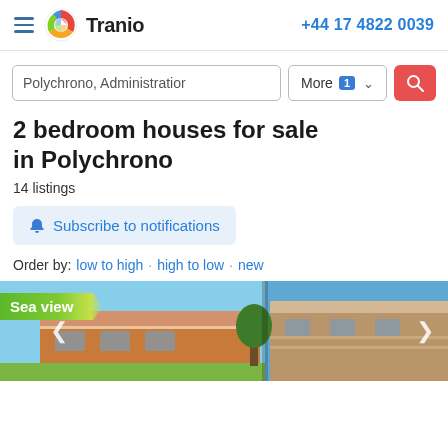Tranio | +44 17 4822 0039
Polychrono, Administration | More 1 | [search button]
2 bedroom houses for sale in Polychrono
14 listings
Subscribe to notifications
Order by: low to high · high to low · new
[Figure (photo): Property listing photo showing two Mediterranean-style houses with orange/stone exterior and balconies, with a 'Sea view' badge overlay]